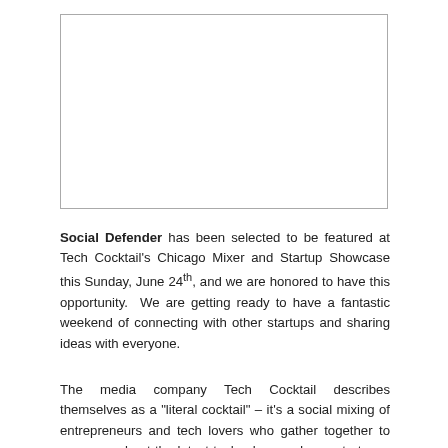[Figure (photo): A rectangular image placeholder with a thin border, no visible content inside.]
Social Defender has been selected to be featured at Tech Cocktail's Chicago Mixer and Startup Showcase this Sunday, June 24th, and we are honored to have this opportunity. We are getting ready to have a fantastic weekend of connecting with other startups and sharing ideas with everyone.
The media company Tech Cocktail describes themselves as a "literal cocktail" – it's a social mixing of entrepreneurs and tech lovers who gather together to converse about the latest technology and new startups. Founded in 2006...